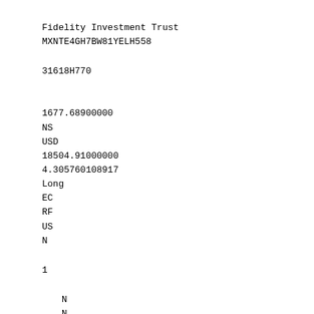Fidelity Investment Trust
MXNTE4GH7BW81YELH558
31618H770
1677.68900000
NS
USD
18504.91000000
4.305760108917
Long
EC
RF
US
N
1
N
N
N
Fidelity Hastings Street Trust
5IETULY5BB0QWX17XY97